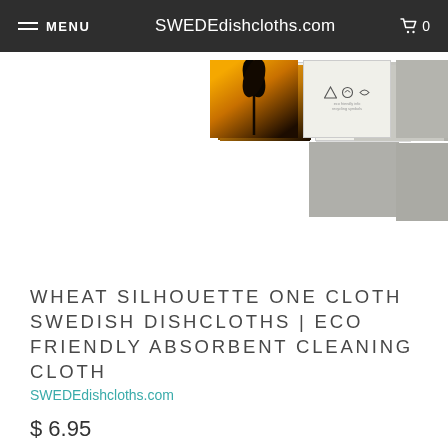MENU  SWEDEdishcloths.com  0
[Figure (photo): Five product thumbnail images: wheat silhouette cloth (orange/black), eco info card with recycling symbols, gray cloth texture, hand holding cloth, hand on steering wheel with cloth]
WHEAT SILHOUETTE ONE CLOTH SWEDISH DISHCLOTHS | ECO FRIENDLY ABSORBENT CLEANING CLOTH
SWEDEdishcloths.com
$ 6.95